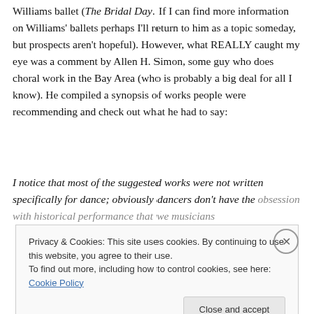Williams ballet (The Bridal Day. If I can find more information on Williams' ballets perhaps I'll return to him as a topic someday, but prospects aren't hopeful). However, what REALLY caught my eye was a comment by Allen H. Simon, some guy who does choral work in the Bay Area (who is probably a big deal for all I know).  He compiled a synopsis of works people were recommending and check out what he had to say:
I notice that most of the suggested works were not written specifically for dance; obviously dancers don't have the obsession with historical performance that we musicians
Privacy & Cookies: This site uses cookies. By continuing to use this website, you agree to their use.
To find out more, including how to control cookies, see here: Cookie Policy